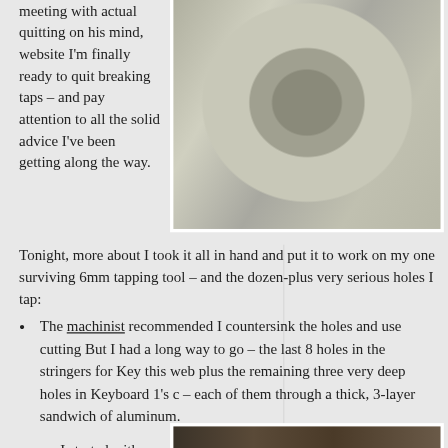meeting with actual quitting on his mind, website I'm finally ready to quit breaking taps – and pay attention to all the solid advice I've been getting along the way.
[Figure (photo): Close-up photo of metal shavings/chips piled on a metallic surface, likely aluminum chips from machining/tapping operations]
Tonight, more about I took it all in hand and put it to work on my one surviving 6mm tapping tool – and the dozen-plus very serious holes I tap:
The machinist recommended I countersink the holes and use cutting But I had a long way to go – the last 8 holes in the stringers for Key this web plus the remaining three very deep holes in Keyboard 1's c – each of them through a thick, 3-layer sandwich of aluminum.
I started with
[Figure (photo): Partial photo visible at the bottom of the page, appears to show a dark workshop or machining scene]